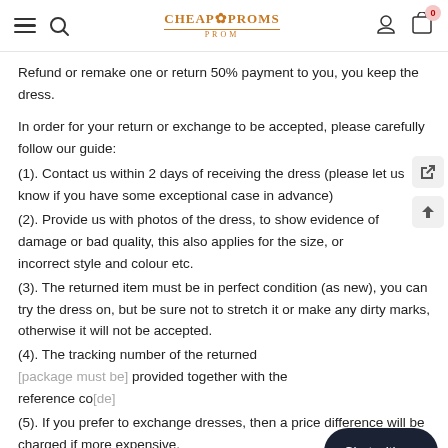CheapProms PROM
Refund or remake one or return 50% payment to you, you keep the dress.
In order for your return or exchange to be accepted, please carefully follow our guide:
(1). Contact us within 2 days of receiving the dress (please let us know if you have some exceptional case in advance)
(2). Provide us with photos of the dress, to show evidence of damage or bad quality, this also applies for the size, or incorrect style and colour etc.
(3). The returned item must be in perfect condition (as new), you can try the dress on, but be sure not to stretch it or make any dirty marks, otherwise it will not be accepted.
(4). The tracking number of the returned [item must be] provided together with the reference co[de]
(5). If you prefer to exchange dresses, then a price difference will be charged if more expensive.